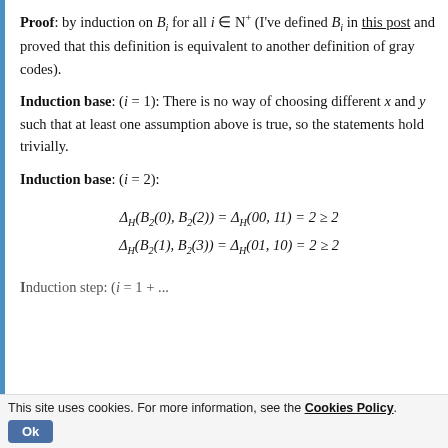Proof: by induction on B_i for all i ∈ N⁺ (I've defined B_i in this post and proved that this definition is equivalent to another definition of gray codes).
Induction base: (i = 1): There is no way of choosing different x and y such that at least one assumption above is true, so the statements hold trivially.
Induction base: (i = 2):
Induction step: (i = 1 + ...
This site uses cookies. For more information, see the Cookies Policy.